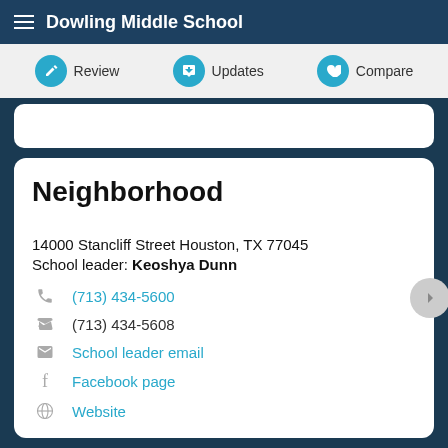Dowling Middle School
Review   Updates   Compare
Neighborhood
14000 Stancliff Street Houston, TX 77045
School leader: Keoshya Dunn
(713) 434-5600
(713) 434-5608
School leader email
Facebook page
Website
School attendance zone